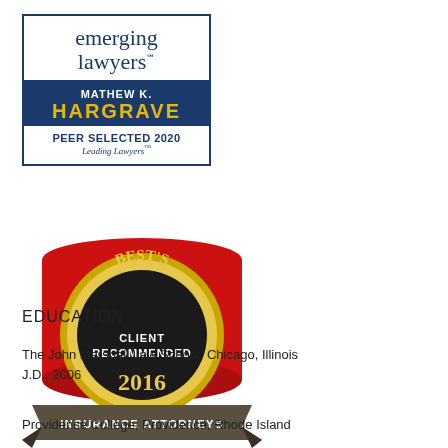[Figure (logo): Emerging Lawyers badge for Mathew K. Hargrave, Peer Selected 2020, Leading Lawyers]
[Figure (logo): Best's Client Recommended 2016 Insurance Attorneys badge]
EDUCATION
The John Marshall Law School, Chicago, Illinois
J.D., 2006
Providence College, Providence, Rhode Island